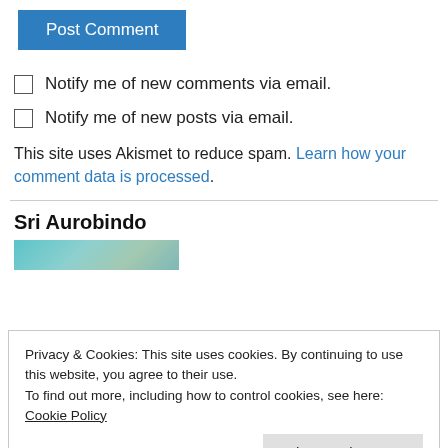Post Comment
Notify me of new comments via email.
Notify me of new posts via email.
This site uses Akismet to reduce spam. Learn how your comment data is processed.
Sri Aurobindo
[Figure (photo): Partial image strip visible behind cookie consent overlay]
Privacy & Cookies: This site uses cookies. By continuing to use this website, you agree to their use.
To find out more, including how to control cookies, see here: Cookie Policy
Close and accept
Blogroll